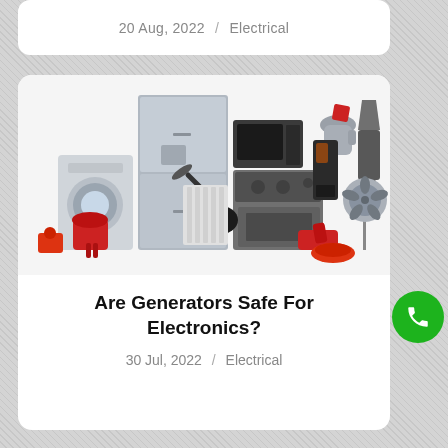20 Aug, 2022  /  Electrical
[Figure (photo): Collection of household electrical appliances including refrigerator, washing machine, microwave, stove, vacuum cleaner, kettle, blender, fan, radiator, and other devices arranged together on white background]
Are Generators Safe For Electronics?
30 Jul, 2022  /  Electrical